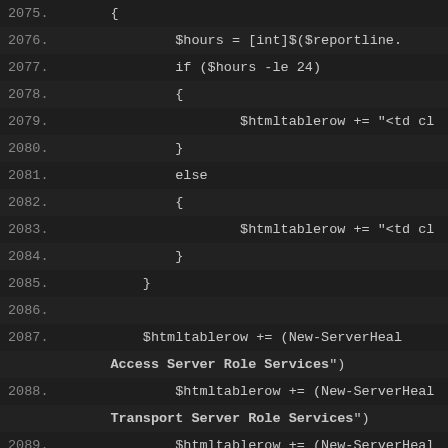Code listing lines 2075-2091 showing PowerShell script with htmltablerow assignments and conditional logic for server health checks
2075.     {
2076.             $hours = [int]$($reportline.
2077.             if ($hours -le 24)
2078.             {
2079.                     $htmltablerow += "<td cl
2080.             }
2081.             else
2082.             {
2083.                     $htmltablerow += "<td cl
2084.             }
2085.         }
2086.
2087.         $htmltablerow += (New-ServerHeal    Access Server Role Services")
2088.             $htmltablerow += (New-ServerHeal    Transport Server Role Services")
2089.             $htmltablerow += (New-ServerHeal    Server Role Services")
2090.         $htmltablerow += (New-ServerHeal    Messaging Server Role Services")
2091.             #$htmltablerow += (New-ServerHea    "Transport Queue")